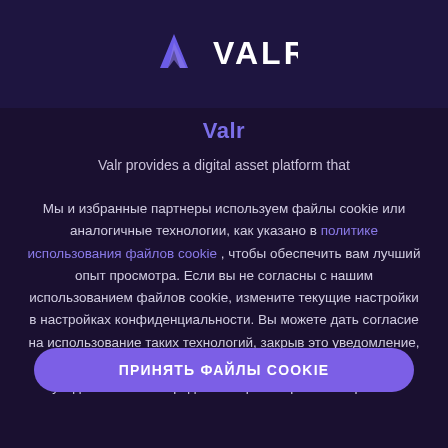[Figure (logo): VALR logo with purple checkmark/V icon and white VALR text on dark purple banner]
Valr
Valr provides a digital asset platform that...
Мы и избранные партнеры используем файлы cookie или аналогичные технологии, как указано в политике использования файлов cookie , чтобы обеспечить вам лучший опыт просмотра. Если вы не согласны с нашим использованием файлов cookie, измените текущие настройки в настройках конфиденциальности. Вы можете дать согласие на использование таких технологий, закрыв это уведомление, перейдя по любой ссылке или кнопке за пределами этого уведомления или продолжив просмотр иным образом.
ПРИНЯТЬ ФАЙЛЫ COOKIE